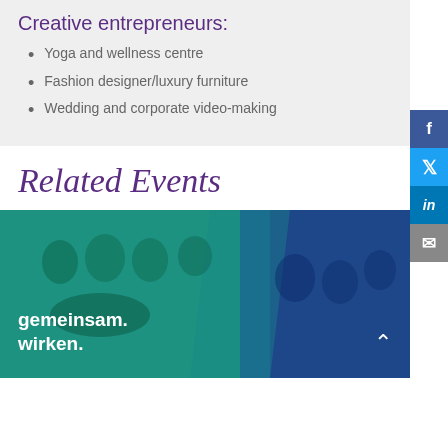Creative entrepreneurs:
Yoga and wellness centre
Fashion designer/luxury furniture
Wedding and corporate video-making
Related Events
[Figure (photo): Group photo with teal/blue color overlay showing people smiling and putting hands together, with text 'gemeinsam. wirken.' overlaid in white bold text, and a chevron-up arrow at bottom right.]